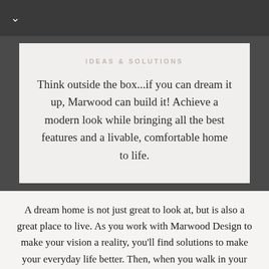IDEAS & SOLUTIONS
Think outside the box...if you can dream it up, Marwood can build it! Achieve a modern look while bringing all the best features and a livable, comfortable home to life.
A dream home is not just great to look at, but is also a great place to live. As you work with Marwood Design to make your vision a reality, you'll find solutions to make your everyday life better. Then, when you walk in your front door after a day in the real world, you'll be